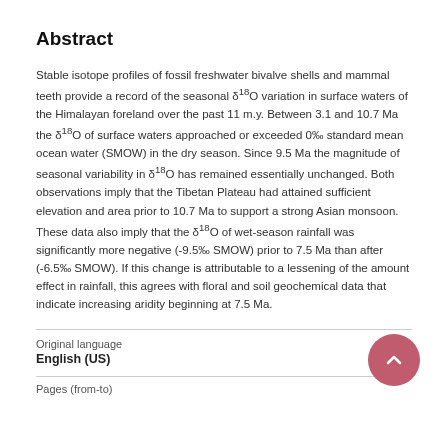Abstract
Stable isotope profiles of fossil freshwater bivalve shells and mammal teeth provide a record of the seasonal δ18O variation in surface waters of the Himalayan foreland over the past 11 m.y. Between 3.1 and 10.7 Ma the δ18O of surface waters approached or exceeded 0‰ standard mean ocean water (SMOW) in the dry season. Since 9.5 Ma the magnitude of seasonal variability in δ18O has remained essentially unchanged. Both observations imply that the Tibetan Plateau had attained sufficient elevation and area prior to 10.7 Ma to support a strong Asian monsoon. These data also imply that the δ18O of wet-season rainfall was significantly more negative (-9.5‰ SMOW) prior to 7.5 Ma than after (-6.5‰ SMOW). If this change is attributable to a lessening of the amount effect in rainfall, this agrees with floral and soil geochemical data that indicate increasing aridity beginning at 7.5 Ma.
Original language
English (US)
Pages (from-to)